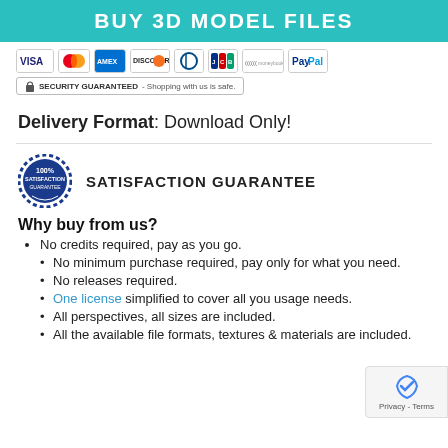BUY 3D MODEL FILES
[Figure (logo): Payment method logos: VISA, MasterCard, American Express, Discover, Diners Club, JCB, Moneybookers, PayPal]
[Figure (logo): Security Guaranteed - Shopping with us is safe.]
Delivery Format: Download Only!
[Figure (logo): 100% Satisfaction Guarantee badge seal]
SATISFACTION GUARANTEE
Why buy from us?
No credits required, pay as you go.
No minimum purchase required, pay only for what you need.
No releases required.
One license simplified to cover all you usage needs.
All perspectives, all sizes are included.
All the available file formats, textures & materials are included.